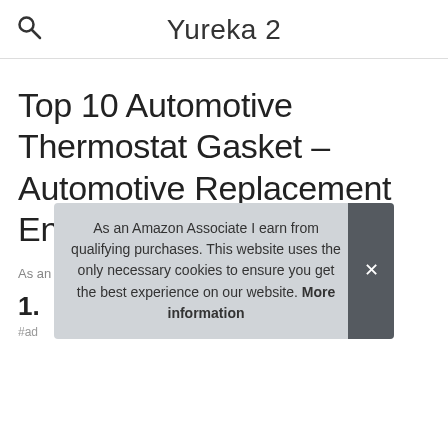Yureka 2
Top 10 Automotive Thermostat Gasket – Automotive Replacement Engine Thermostat Seals
As an Amazon Associate I earn from qualifying purchases.
1.
#ad
As an Amazon Associate I earn from qualifying purchases. This website uses the only necessary cookies to ensure you get the best experience on our website. More information